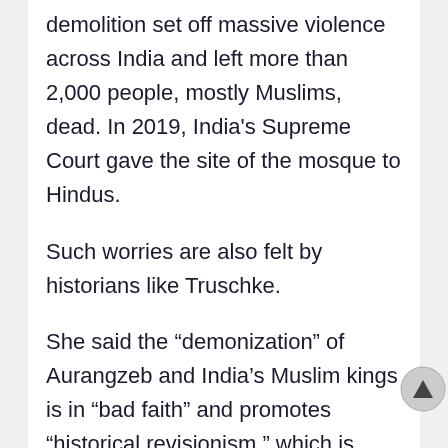demolition set off massive violence across India and left more than 2,000 people, mostly Muslims, dead. In 2019, India's Supreme Court gave the site of the mosque to Hindus.
Such worries are also felt by historians like Truschke.
She said the “demonization” of Aurangzeb and India’s Muslim kings is in “bad faith” and promotes “historical revisionism,” which is often backed by threats and